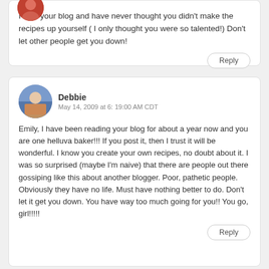I love your blog and have never thought you didn't make the recipes up yourself ( I only thought you were so talented!) Don't let other people get you down!
Reply
Debbie
May 14, 2009 at 6: 19:00 AM CDT
Emily, I have been reading your blog for about a year now and you are one helluva baker!!! If you post it, then I trust it will be wonderful. I know you create your own recipes, no doubt about it. I was so surprised (maybe I'm naive) that there are people out there gossiping like this about another blogger. Poor, pathetic people. Obviously they have no life. Must have nothing better to do. Don't let it get you down. You have way too much going for you!! You go, girl!!!!!
Reply